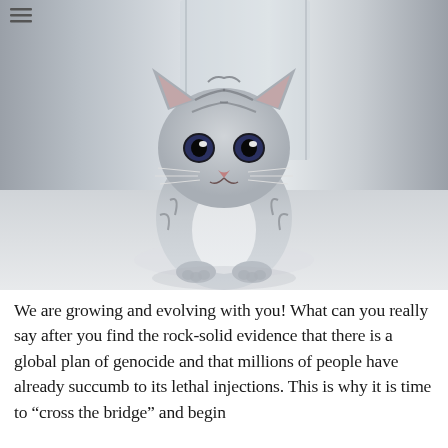[Figure (photo): A small tabby kitten with grey and black striped fur sitting on a light reflective floor, facing forward with wide eyes, against a blurred light grey background.]
We are growing and evolving with you! What can you really say after you find the rock-solid evidence that there is a global plan of genocide and that millions of people have already succumb to its lethal injections. This is why it is time to “cross the bridge” and begin